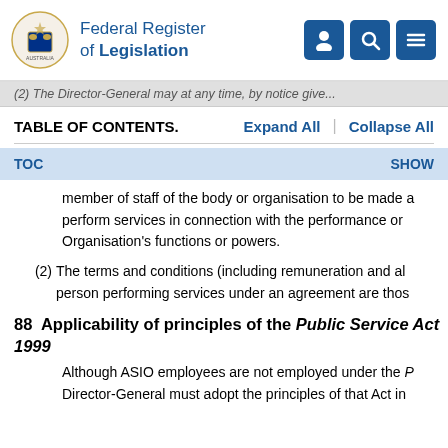Federal Register of Legislation
(2) The Director-General may at any time, by notice give...
TABLE OF CONTENTS.
TOC    SHOW
member of staff of the body or organisation to be made a... perform services in connection with the performance or... Organisation’s functions or powers.
(2) The terms and conditions (including remuneration and al... person performing services under an agreement are thos...
88  Applicability of principles of the Public Service Act 1999
Although ASIO employees are not employed under the P... Director-General must adopt the principles of that Act in...